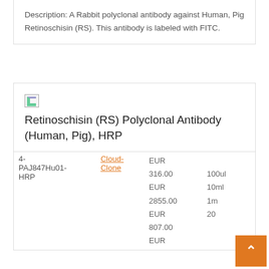Description: A Rabbit polyclonal antibody against Human, Pig Retinoschisin (RS). This antibody is labeled with FITC.
Retinoschisin (RS) Polyclonal Antibody (Human, Pig), HRP
|  |  | Price | Size |
| --- | --- | --- | --- |
| 4-PAJ847Hu01-HRP | Cloud-Clone | EUR 316.00
EUR 2855.00
EUR 807.00
EUR | 100ul
10ml
1ml
200ul
20ul |